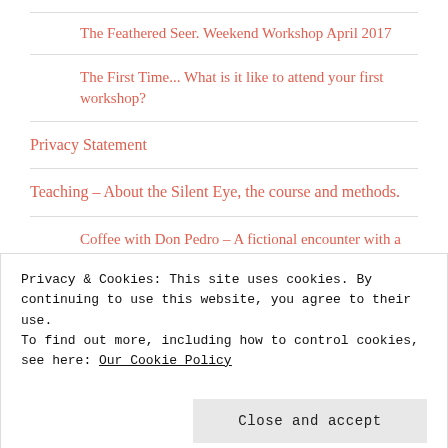The Feathered Seer. Weekend Workshop April 2017
The First Time... What is it like to attend your first workshop?
Privacy Statement
Teaching – About the Silent Eye, the course and methods.
Coffee with Don Pedro – A fictional encounter with a mysterious man by Steve Tanham
The Enneagram – What is it and how do we use it?
Privacy & Cookies: This site uses cookies. By continuing to use this website, you agree to their use.
To find out more, including how to control cookies, see here: Our Cookie Policy
Close and accept